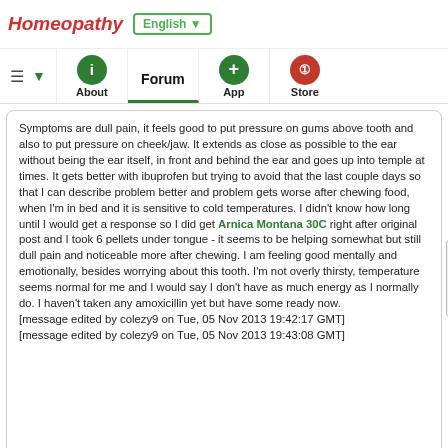Homeopathy | English ▼
About | Forum | App | Store
Symptoms are dull pain, it feels good to put pressure on gums above tooth and also to put pressure on cheek/jaw. It extends as close as possible to the ear without being the ear itself, in front and behind the ear and goes up into temple at times. It gets better with ibuprofen but trying to avoid that the last couple days so that I can describe problem better and problem gets worse after chewing food, when I'm in bed and it is sensitive to cold temperatures. I didn't know how long until I would get a response so I did get Arnica Montana 30C right after original post and I took 6 pellets under tongue - it seems to be helping somewhat but still dull pain and noticeable more after chewing. I am feeling good mentally and emotionally, besides worrying about this tooth. I'm not overly thirsty, temperature seems normal for me and I would say I don't have as much energy as I normally do. I haven't taken any amoxicillin yet but have some ready now. [message edited by colezy9 on Tue, 05 Nov 2013 19:42:17 GMT] [message edited by colezy9 on Tue, 05 Nov 2013 19:43:08 GMT]